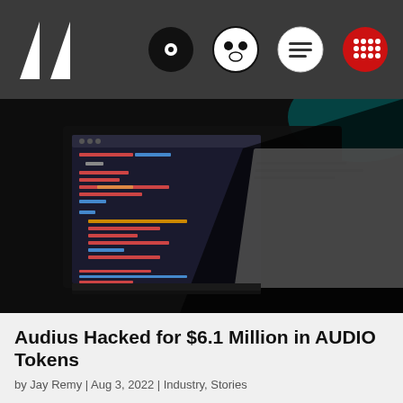Audius news article page header with logo and navigation icons
[Figure (photo): Dark background photo of a computer monitor displaying code editor with colorful syntax highlighting (CSS/HTML code in red and blue on dark background), with a blurred document visible to the right. The overall image is dark with the screen as the primary light source.]
Audius Hacked for $6.1 Million in AUDIO Tokens
by Jay Remy | Aug 3, 2022 | Industry, Stories
Blockchain-powered streaming service Audius was hacked for $6.1 million worth of their AUDIO token...